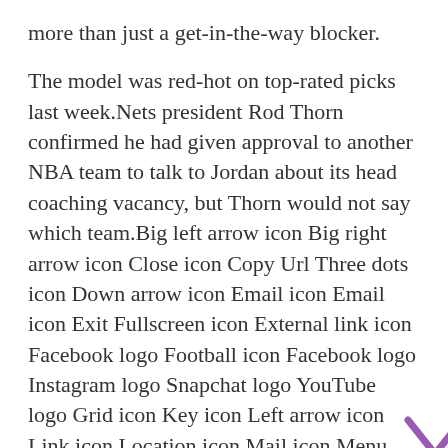more than just a get-in-the-way blocker.
The model was red-hot on top-rated picks last week.Nets president Rod Thorn confirmed he had given approval to another NBA team to talk to Jordan about its head coaching vacancy, but Thorn would not say which team.Big left arrow icon Big right arrow icon Close icon Copy Url Three dots icon Down arrow icon Email icon Email icon Exit Fullscreen icon External link icon Facebook logo Football icon Facebook logo Instagram logo Snapchat logo YouTube logo Grid icon Key icon Left arrow icon Link icon Location icon Mail icon Menu icon Open icon Phone icon Play icon Radio icon Rewind icon Right arrow icon Search icon Select icon Selected icon TV icon Twitter logo Twitter logo Up arrow icon User icon Audio icon Tickets iconAdd to calendar iconNFC icon AFC icon